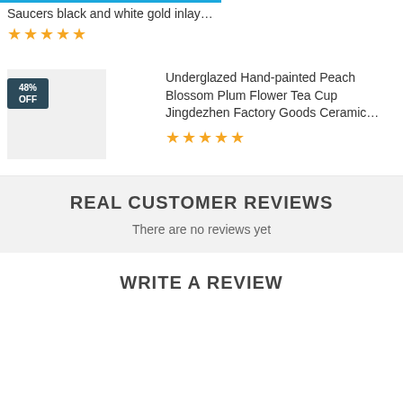Saucers black and white gold inlay...
★★★★★
48% OFF
Underglazed Hand-painted Peach Blossom Plum Flower Tea Cup Jingdezhen Factory Goods Ceramic...
★★★★★
REAL CUSTOMER REVIEWS
There are no reviews yet
WRITE A REVIEW